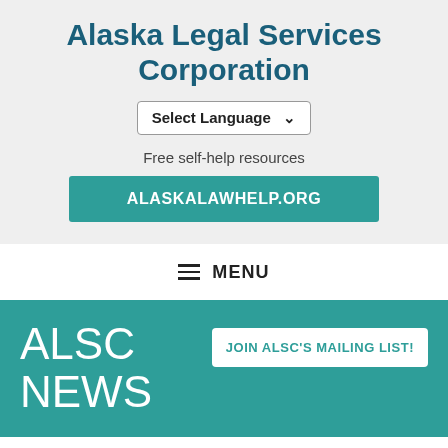Alaska Legal Services Corporation
Select Language
Free self-help resources
ALASKALAWHELP.ORG
MENU
ALSC NEWS
JOIN ALSC'S MAILING LIST!
April Volunteer of the